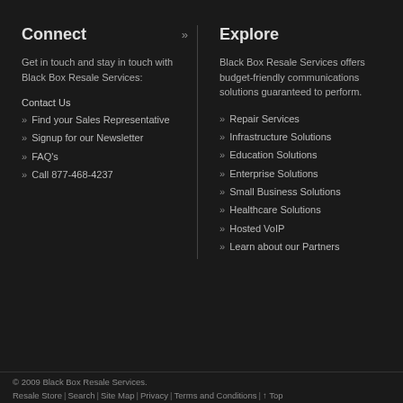Connect »
Get in touch and stay in touch with Black Box Resale Services:
Contact Us
» Find your Sales Representative
» Signup for our Newsletter
» FAQ's
» Call 877-468-4237
Explore
Black Box Resale Services offers budget-friendly communications solutions guaranteed to perform.
» Repair Services
» Infrastructure Solutions
» Education Solutions
» Enterprise Solutions
» Small Business Solutions
» Healthcare Solutions
» Hosted VoIP
» Learn about our Partners
© 2009 Black Box Resale Services. | Resale Store | Search | Site Map | Privacy | Terms and Conditions | ↑ Top